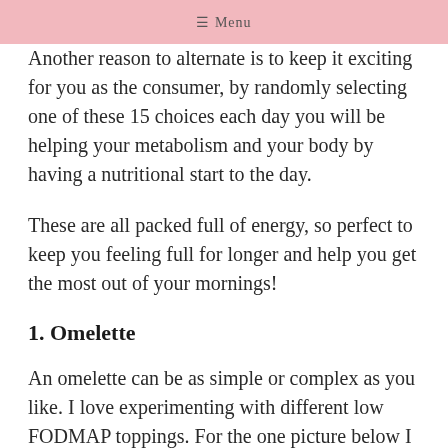≡ Menu
Another reason to alternate is to keep it exciting for you as the consumer, by randomly selecting one of these 15 choices each day you will be helping your metabolism and your body by having a nutritional start to the day.
These are all packed full of energy, so perfect to keep you feeling full for longer and help you get the most out of your mornings!
1. Omelette
An omelette can be as simple or complex as you like. I love experimenting with different low FODMAP toppings. For the one picture below I used peppers, kale, homemade green pesto, bacon lardons, spring onion (greens) and spinach.